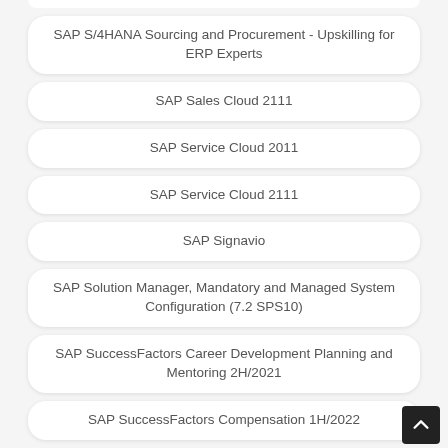SAP S/4HANA Sourcing and Procurement - Upskilling for ERP Experts
SAP Sales Cloud 2111
SAP Service Cloud 2011
SAP Service Cloud 2111
SAP Signavio
SAP Solution Manager, Mandatory and Managed System Configuration (7.2 SPS10)
SAP SuccessFactors Career Development Planning and Mentoring 2H/2021
SAP SuccessFactors Compensation 1H/2022